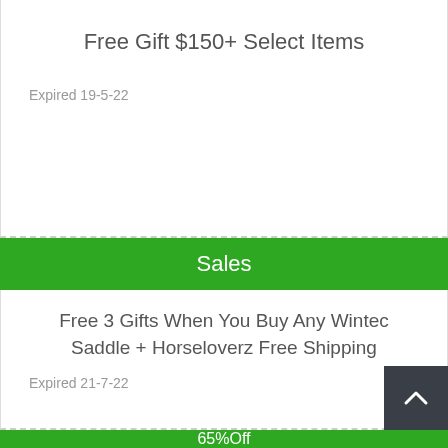Free Gift $150+ Select Items
Expired 19-5-22
Sales
Free 3 Gifts When You Buy Any Wintec Saddle + Horseloverz Free Shipping
Expired 21-7-22
65%Off